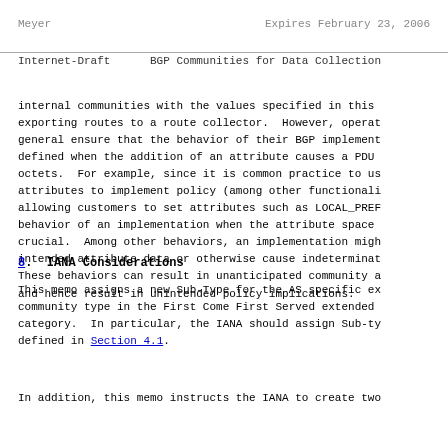Meyer                         Expires February 23, 2006
Internet-Draft      BGP Communities for Data Collection
internal communities with the values specified in this exporting routes to a route collector.  However, operat general ensure that the behavior of their BGP implement defined when the addition of an attribute causes a PDU octets.  For example, since it is common practice to us attributes to implement policy (among other functionali allowing customers to set attributes such as LOCAL_PREF behavior of an implementation when the attribute space crucial.  Among other behaviors, an implementation migh intended attribute data or otherwise cause indeterminat These behaviors can result in unanticipated community a and hence result in unintended policy implications.
8.  IANA Considerations
This memo assigns a new Sub-Type for the AS specific ex community type in the First Come First Served extended category.  In particular, the IANA should assign Sub-ty defined in Section 4.1.
In addition, this memo instructs the IANA to create two